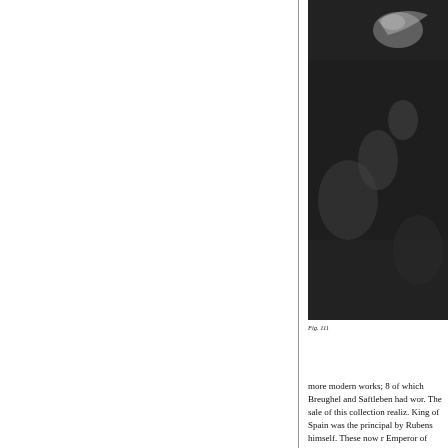[Figure (photo): Black and white photograph, partially visible at top right of page, showing what appears to be a figure or artwork in dark tones.]
Fig. 111
more modern works; 8 of which Breughel and Saftleben had wor. The sale of this collection realiz. King of Spain was the principal by Rubens himself. These now r Emperor of Germany, the King among the buyers.
The drawings of the master w